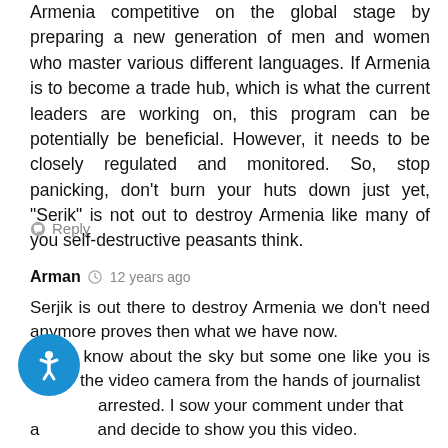Armenia competitive on the global stage by preparing a new generation of men and women who master various different languages. If Armenia is to become a trade hub, which is what the current leaders are working on, this program can be potentially be beneficial. However, it needs to be closely regulated and monitored. So, stop panicking, don't burn your huts down just yet, "Serik" is not out to destroy Armenia like many of you self-destructive peasants think.
Reply
Arman · 12 years ago
Serjik is out there to destroy Armenia we don't need anymore proves then what we have now. I don't know about the sky but some one like you is t... the video camera from the hands of journalist ... arrested. I sow your comment under that a... and decide to show you this video.